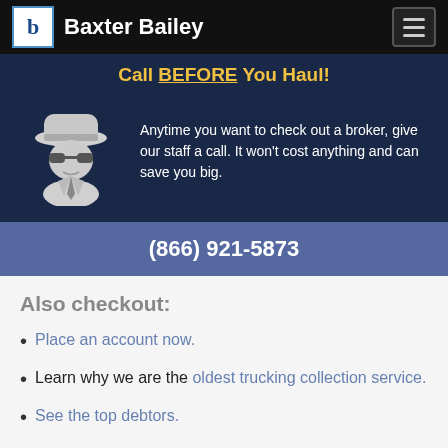Baxter Bailey
Call BEFORE You Haul!
Anytime you want to check out a broker, give our staff a call. It won't cost anything and can save you big.
(866) 921-5873
Also checkout:
Place an account now.
Learn why we are the oldest trucking collection service.
See the top debtors.